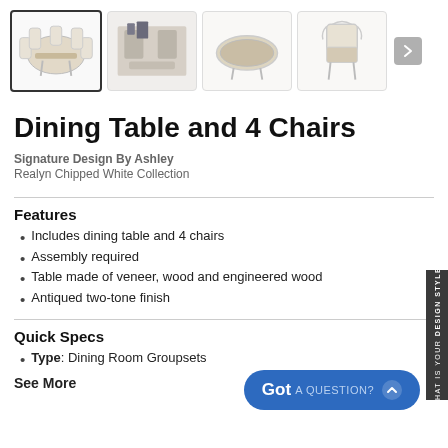[Figure (photo): Product image gallery showing 4 thumbnails: dining table set with chairs, room setting with chairs, oval table top view, single chair. First thumbnail is selected (highlighted border). Arrow navigation button on right.]
Dining Table and 4 Chairs
Signature Design By Ashley
Realyn Chipped White Collection
Features
Includes dining table and 4 chairs
Assembly required
Table made of veneer, wood and engineered wood
Antiqued two-tone finish
Quick Specs
Type: Dining Room Groupsets
See More
[Figure (other): Side tab reading WHAT IS YOUR DESIGN STYLE? in vertical text on dark gray background]
[Figure (other): Got A QUESTION? button in blue rounded rectangle with chevron up arrow]